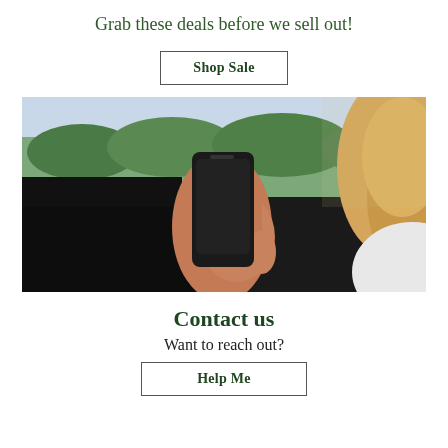Grab these deals before we sell out!
Shop Sale
[Figure (photo): A woman with blonde hair holding a smartphone, viewed from the side. Blurred green landscape visible through a window in the background.]
Contact us
Want to reach out?
Help Me